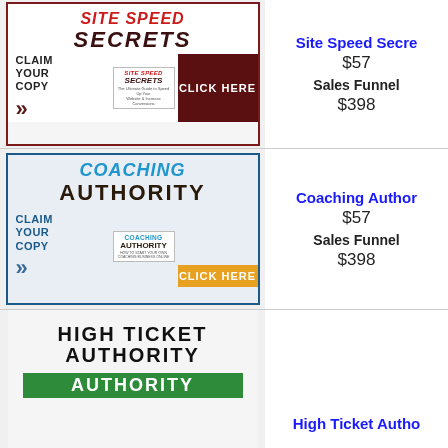[Figure (illustration): Site Speed Secrets product ad with red title, book image, claim your copy text, and CLICK HERE button]
Site Speed Secrets
$57
Sales Funnel
$398
[Figure (illustration): Coaching Authority product ad with blue title, book image, claim your copy text, and CLICK HERE button]
Coaching Authority
$57
Sales Funnel
$398
[Figure (illustration): High Ticket Authority product ad showing title and green authority bar]
High Ticket Authority